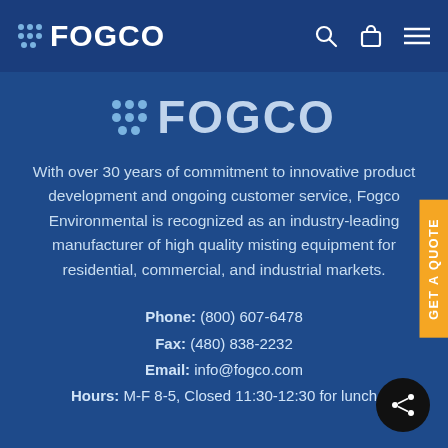FOGCO
[Figure (logo): FOGCO logo with dots icon, large centered version on blue background]
With over 30 years of commitment to innovative product development and ongoing customer service, Fogco Environmental is recognized as an industry-leading manufacturer of high quality misting equipment for residential, commercial, and industrial markets.
Phone: (800) 607-6478
Fax: (480) 838-2232
Email: info@fogco.com
Hours: M-F 8-5, Closed 11:30-12:30 for lunch